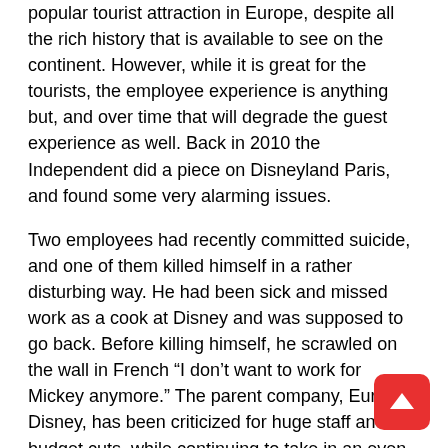popular tourist attraction in Europe, despite all the rich history that is available to see on the continent. However, while it is great for the tourists, the employee experience is anything but, and over time that will degrade the guest experience as well. Back in 2010 the Independent did a piece on Disneyland Paris, and found some very alarming issues.
Two employees had recently committed suicide, and one of them killed himself in a rather disturbing way. He had been sick and missed work as a cook at Disney and was supposed to go back. Before killing himself, he scrawled on the wall in French “I don’t want to work for Mickey anymore.” The parent company, Euro Disney, has been criticized for huge staff and budget cuts, while continuing to take in an even bigger influx of guests. And to make matters worse, the staff members who are expected to do more with less every year have essentially no opportunities for advancement. Not only that, but most people are being paid only barely above minimum wage